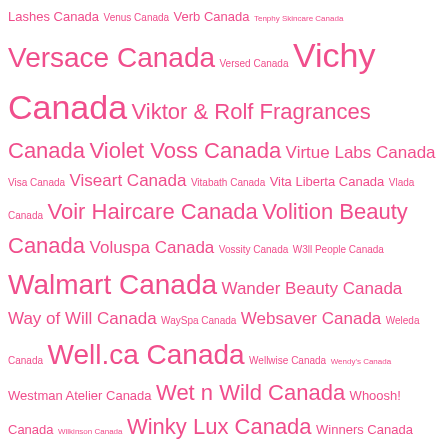Lashes Canada Venus Canada Verb Canada Tenphy Skincare Canada Versace Canada Versed Canada Vichy Canada Viktor & Rolf Fragrances Canada Violet Voss Canada Virtue Labs Canada Visa Canada Viseart Canada Vitabath Canada Vita Liberta Canada Vlada Canada Voir Haircare Canada Volition Beauty Canada Voluspa Canada Vossity Canada W3ll People Canada Walmart Canada Wander Beauty Canada Way of Will Canada WaySpa Canada Websaver Canada Weleda Canada Well.ca Canada Wellwise Canada Wendy's Canada Westman Atelier Canada Wet n Wild Canada Whoosh! Canada Wilkinson Canada Winky Lux Canada Winners Canada Wishful Canada Yehwadam Canada Your Independent Grocer Canada Youth To The People Canada YouTube Canada YSL Canada Yves Rocher Canada Yves Saint Laurent Canada Zehrs Canada Zippo Canada Zoeva Cosmetics Canada